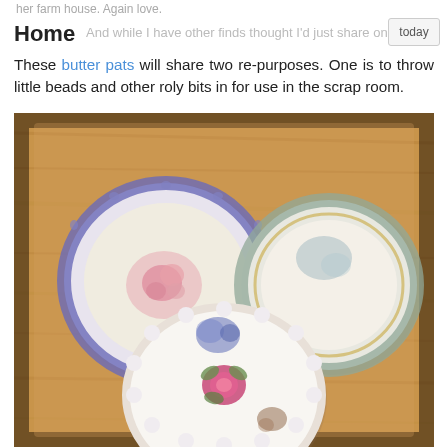her farm house. Again love.
Home
And while I have other finds thought I'd just share one more today.
These butter pats will share two re-purposes. One is to throw little beads and other roly bits in for use in the scrap room.
[Figure (photo): Three decorative china butter pat dishes on a wooden surface. Top left: round dish with blue border and pink floral pattern. Top right: round dish with blue floral border and gold accents. Bottom center: white dish with scalloped edge, blue floral and pink rose decoration.]